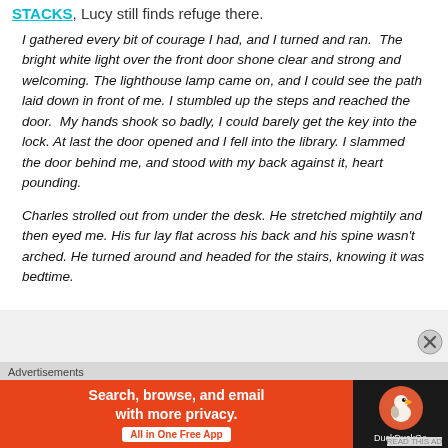STACKS, Lucy still finds refuge there.
I gathered every bit of courage I had, and I turned and ran. The bright white light over the front door shone clear and strong and welcoming. The lighthouse lamp came on, and I could see the path laid down in front of me. I stumbled up the steps and reached the door. My hands shook so badly, I could barely get the key into the lock. At last the door opened and I fell into the library. I slammed the door behind me, and stood with my back against it, heart pounding.
Charles strolled out from under the desk. He stretched mightily and then eyed me. His fur lay flat across his back and his spine wasn't arched. He turned around and headed for the stairs, knowing it was bedtime.
Advertisements
[Figure (other): DuckDuckGo advertisement banner: orange left section with text 'Search, browse, and email with more privacy. All in One Free App' and dark right section with DuckDuckGo logo and name.]